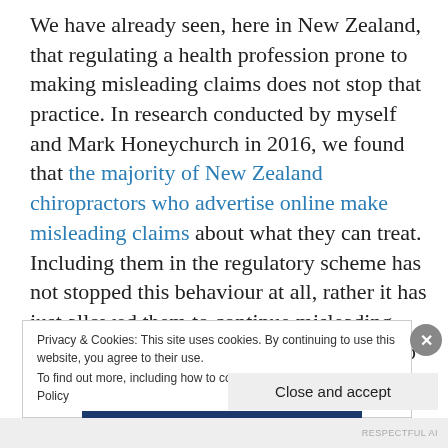We have already seen, here in New Zealand, that regulating a health profession prone to making misleading claims does not stop that practice. In research conducted by myself and Mark Honeychurch in 2016, we found that the majority of New Zealand chiropractors who advertise online make misleading claims about what they can treat. Including them in the regulatory scheme has not stopped this behaviour at all, rather it has just allowed them to continue misleading patients from a position of authority, able to use the protected title of “Dr”.
Privacy & Cookies: This site uses cookies. By continuing to use this website, you agree to their use. To find out more, including how to control cookies, see here: Cookie Policy
Close and accept